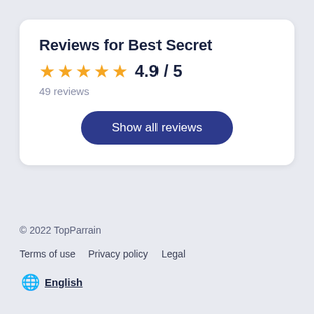Reviews for Best Secret
★★★★★ 4.9 / 5
49 reviews
Show all reviews
© 2022 TopParrain
Terms of use   Privacy policy   Legal
English